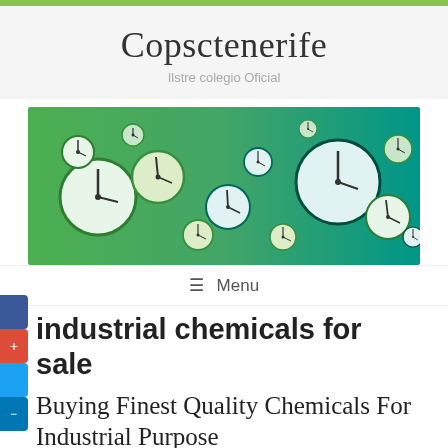Copsctenerife
Ilstre colegio Oficial
[Figure (illustration): Banner image showing multiple analog clocks of various sizes floating on a green-to-teal gradient background.]
≡  Menu
industrial chemicals for sale
Buying Finest Quality Chemicals For Industrial Purpose